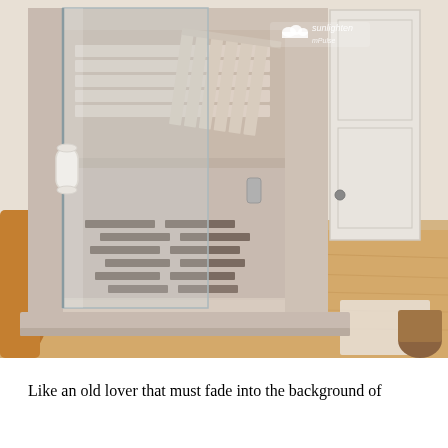[Figure (photo): A Sunlighten mPulse infrared sauna cabin with light-colored wood panels and glass door open, showing wooden bench slats, a slatted floor, and white handle. The sauna is placed in a room with light hardwood flooring, a leather chair visible on the left, and a white door in the background. The Sunlighten logo and 'mPulse' text are visible inside the sauna.]
Like an old lover that must fade into the background of